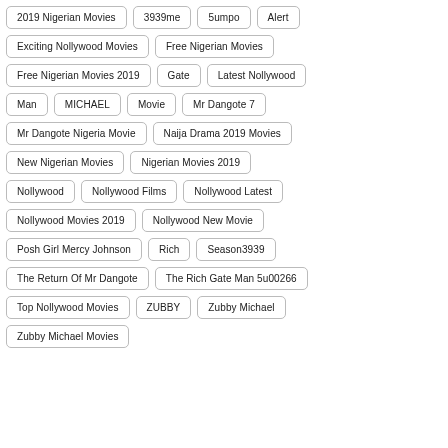2019 Nigerian Movies
3939me
5umpo
Alert
Exciting Nollywood Movies
Free Nigerian Movies
Free Nigerian Movies 2019
Gate
Latest Nollywood
Man
MICHAEL
Movie
Mr Dangote 7
Mr Dangote Nigeria Movie
Naija Drama 2019 Movies
New Nigerian Movies
Nigerian Movies 2019
Nollywood
Nollywood Films
Nollywood Latest
Nollywood Movies 2019
Nollywood New Movie
Posh Girl Mercy Johnson
Rich
Season3939
The Return Of Mr Dangote
The Rich Gate Man 5u00266
Top Nollywood Movies
ZUBBY
Zubby Michael
Zubby Michael Movies